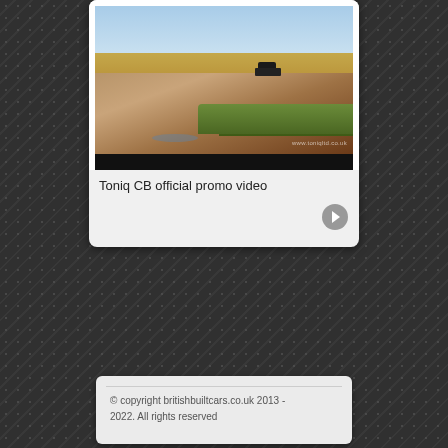[Figure (photo): Screenshot of a website card showing a promotional video thumbnail. The thumbnail shows a car on a dirt road in an open landscape with sky. Below the image is the text 'Toniq CB official promo video' and a right arrow button.]
Toniq CB official promo video
© copyright britishbuiltcars.co.uk 2013 - 2022. All rights reserved